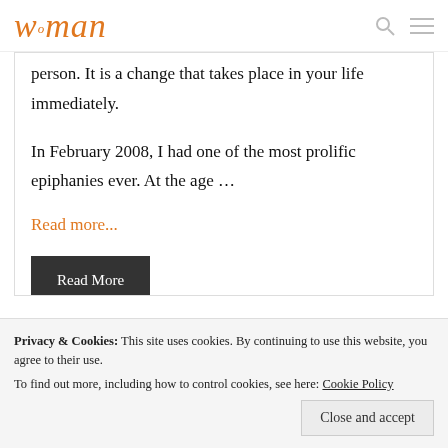woman
person. It is a change that takes place in your life immediately.

In February 2008, I had one of the most prolific epiphanies ever. At the age …
Read more...
Read More
Privacy & Cookies: This site uses cookies. By continuing to use this website, you agree to their use.
To find out more, including how to control cookies, see here: Cookie Policy
Close and accept